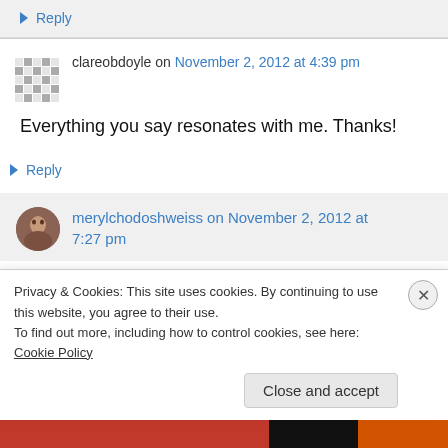↳ Reply
clareobdoyle on November 2, 2012 at 4:39 pm
Everything you say resonates with me. Thanks!
↳ Reply
merylchodoshweiss on November 2, 2012 at 7:27 pm
Privacy & Cookies: This site uses cookies. By continuing to use this website, you agree to their use.
To find out more, including how to control cookies, see here: Cookie Policy
Close and accept